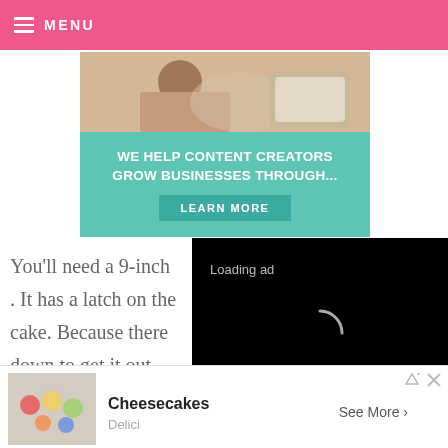MENU
[Figure (infographic): Advertisement banner showing a woman using a laptop, with teal background text 'WE HELP CONTENT CREATORS GROW BUSINESSES THROUGH...' and a 'LEARN MORE' button]
You'll need a 9-inch . It has a latch on the cake. Because there down to get it out.
[Figure (screenshot): Video player overlay showing 'Loading ad' text with a loading spinner and video controls (pause, fullscreen, mute) on a black background]
Place some parchment paper on the bottom so it
[Figure (infographic): Bottom advertisement bar showing 'Ad' label, cheesecake thumbnail photo, title 'Cheesecakes', subtitle 'Delici', and 'See More >' button]